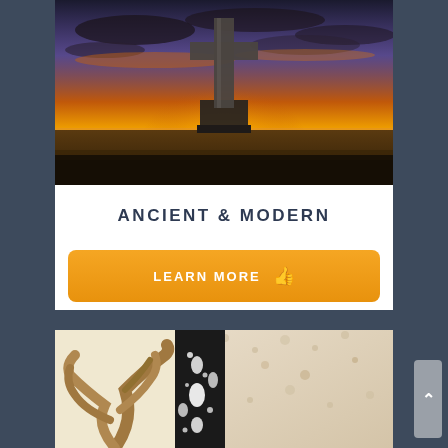[Figure (photo): A stone cross silhouetted against a dramatic golden sunset sky over a flat landscape with a body of water in the distance]
ANCIENT & MODERN
LEARN MORE
[Figure (photo): Decorative cross or religious art object with black and cream/white textured elements, partially visible at bottom of page]